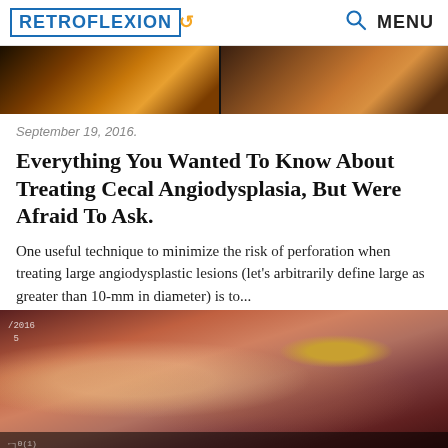RETROFLEXION | MENU
[Figure (photo): Endoscopy image split into two panels showing interior views, warm amber and brown tones]
September 19, 2016.
Everything You Wanted To Know About Treating Cecal Angiodysplasia, But Were Afraid To Ask.
One useful technique to minimize the risk of perforation when treating large angiodysplastic lesions (let's arbitrarily define large as greater than 10-mm in diameter) is to...
[Figure (photo): Endoscopic view of cecal angiodysplasia showing pinkish-red mucosal surface with characteristic lesion and small bright spots, timestamp 2016 visible in upper left corner]